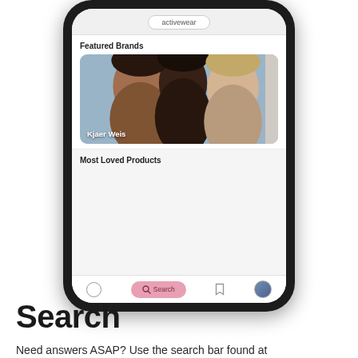[Figure (screenshot): Smartphone screenshot showing a beauty app with 'activewear' pill tag at top, a 'Featured Brands' section with a photo of three women labeled 'Kjaer Weis', a 'Most Loved Products' section, and a bottom navigation bar with a pink Search button.]
Search
Need answers ASAP? Use the search bar found at